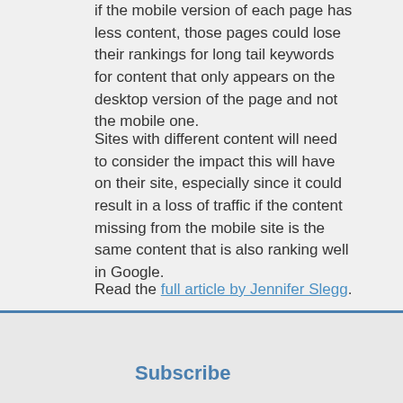if the mobile version of each page has less content, those pages could lose their rankings for long tail keywords for content that only appears on the desktop version of the page and not the mobile one.
Sites with different content will need to consider the impact this will have on their site, especially since it could result in a loss of traffic if the content missing from the mobile site is the same content that is also ranking well in Google.
Read the full article by Jennifer Slegg.
[Figure (infographic): Social share buttons: Twitter (blue), Facebook (dark blue), Google+ (red), LinkedIn (blue)]
Subscribe